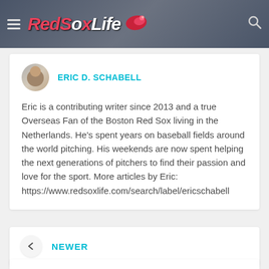RedSoxLife
ERIC D. SCHABELL
Eric is a contributing writer since 2013 and a true Overseas Fan of the Boston Red Sox living in the Netherlands. He's spent years on baseball fields around the world pitching. His weekends are now spent helping the next generations of pitchers to find their passion and love for the sport. More articles by Eric: https://www.redsoxlife.com/search/label/ericschabell
NEWER